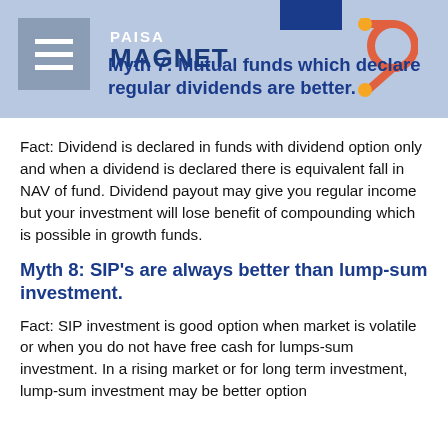Paisa Magnet
Myth 7: Mutual funds which declare regular dividends are better.
Fact: Dividend is declared in funds with dividend option only and when a dividend is declared there is equivalent fall in NAV of fund. Dividend payout may give you regular income but your investment will lose benefit of compounding which is possible in growth funds.
Myth 8: SIP's are always better than lump-sum investment.
Fact: SIP investment is good option when market is volatile or when you do not have free cash for lumps-sum investment. In a rising market or for long term investment, lump-sum investment may be better option